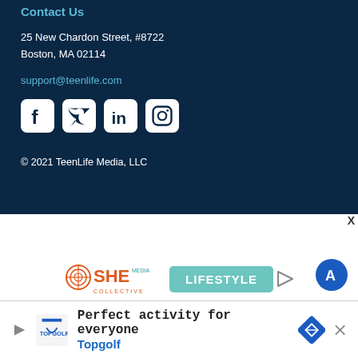Contact Us
25 New Chardon Street, #8722
Boston, MA 02114
support@teenlife.com
[Figure (illustration): Social media icons: Facebook, Twitter, LinkedIn, Instagram]
© 2021 TeenLife Media, LLC
[Figure (logo): SHE Media Collective LIFESTYLE advertisement banner with Learn More | Privacy links]
[Figure (illustration): Topgolf advertisement: Perfect activity for everyone - Topgolf]